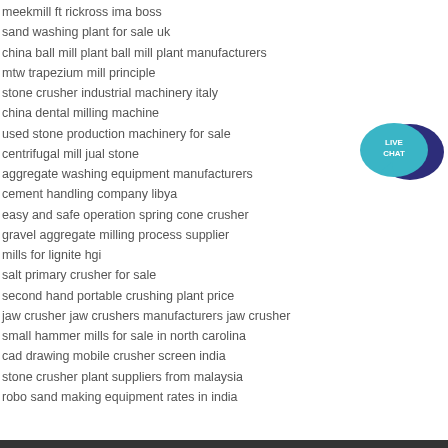meekmill ft rickross ima boss
sand washing plant for sale uk
china ball mill plant ball mill plant manufacturers
mtw trapezium mill principle
stone crusher industrial machinery italy
china dental milling machine
used stone production machinery for sale
centrifugal mill jual stone
aggregate washing equipment manufacturers
cement handling company libya
easy and safe operation spring cone crusher
gravel aggregate milling process supplier
mills for lignite hgi
salt primary crusher for sale
second hand portable crushing plant price
jaw crusher jaw crushers manufacturers jaw crusher
small hammer mills for sale in north carolina
cad drawing mobile crusher screen india
stone crusher plant suppliers from malaysia
robo sand making equipment rates in india
[Figure (illustration): Live Chat speech bubble widget with teal/dark blue colors and 'LIVE CHAT' text]